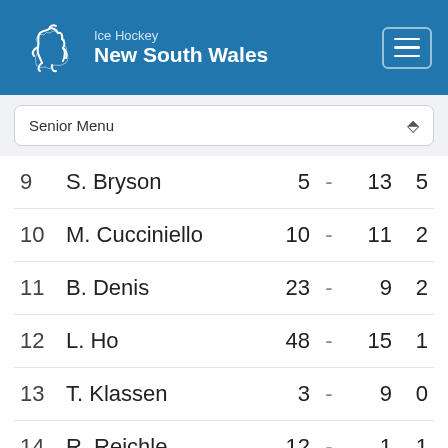Ice Hockey New South Wales
Senior Menu
| # | Name | Col1 |  | Col2 | Col3 |
| --- | --- | --- | --- | --- | --- |
| 9 | S. Bryson | 5 | - | 13 | 5 |
| 10 | M. Cucciniello | 10 | - | 11 | 2 |
| 11 | B. Denis | 23 | - | 9 | 2 |
| 12 | L. Ho | 48 | - | 15 | 1 |
| 13 | T. Klassen | 3 | - | 9 | 0 |
| 14 | R. Reichle | 12 | - | 1 | 1 |
| 15 | T. Holmstrom | 7 | - | 1 | 0 |